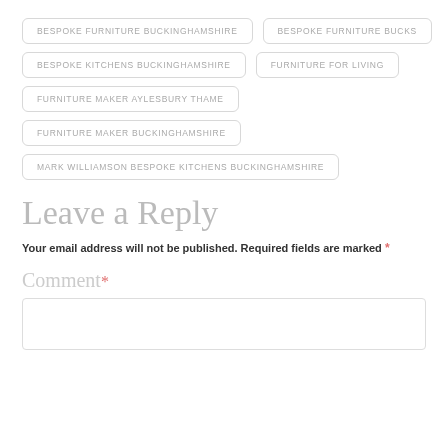BESPOKE FURNITURE BUCKINGHAMSHIRE
BESPOKE FURNITURE BUCKS
BESPOKE KITCHENS BUCKINGHAMSHIRE
FURNITURE FOR LIVING
FURNITURE MAKER AYLESBURY THAME
FURNITURE MAKER BUCKINGHAMSHIRE
MARK WILLIAMSON BESPOKE KITCHENS BUCKINGHAMSHIRE
Leave a Reply
Your email address will not be published. Required fields are marked *
Comment*